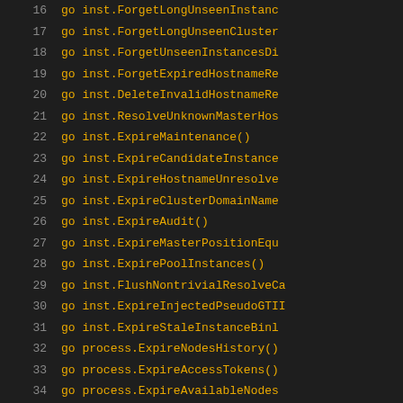16  go inst.ForgetLongUnseenInstanc...
17  go inst.ForgetLongUnseenCluster...
18  go inst.ForgetUnseenInstancesDi...
19  go inst.ForgetExpiredHostnameRe...
20  go inst.DeleteInvalidHostnameRe...
21  go inst.ResolveUnknownMasterHos...
22  go inst.ExpireMaintenance()
23  go inst.ExpireCandidateInstance...
24  go inst.ExpireHostnameUnresolve...
25  go inst.ExpireClusterDomainName...
26  go inst.ExpireAudit()
27  go inst.ExpireMasterPositionEqu...
28  go inst.ExpirePoolInstances()
29  go inst.FlushNontrivialResolveC...
30  go inst.ExpireInjectedPseudoGTI...
31  go inst.ExpireStaleInstanceBinl...
32  go process.ExpireNodesHistory()
33  go process.ExpireAccessTokens()
34  go process.ExpireAvailableNodes...
35  go ExpireFailureDetectionHistor...
36  go ExpireTopologyRecoveryHisto...
37  go ExpireTopologyRecoverySteps...
38
39  if runCheckAndRecoverOperations...